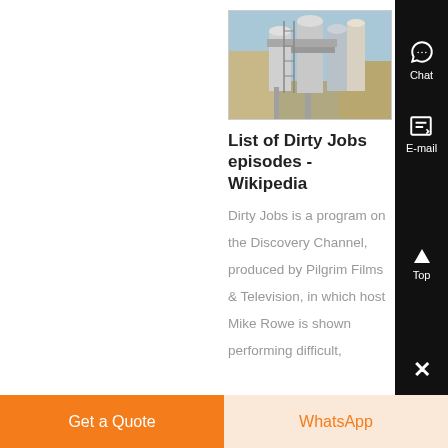[Figure (photo): Industrial facility photo showing large metal ventilation/dust collection equipment with cylindrical tanks and ductwork, outdoors with clear blue sky.]
List of Dirty Jobs episodes - Wikipedia
Dirty Jobs is a program on the Discovery Channel, produced by Pilgrim Films & Television, in which host Mike Rowe is shown performing difficult,
Chat
E-mail
Top
Get a Quote
WhatsApp